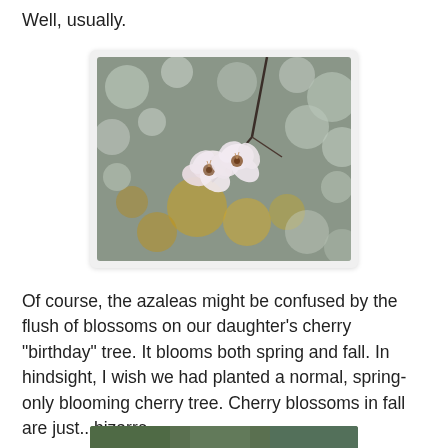Well, usually.
[Figure (photo): Close-up photo of cherry blossoms (small white/pink flowers) on a branch with a soft bokeh background of grey-green and golden tones]
Of course, the azaleas might be confused by the flush of blossoms on our daughter's cherry "birthday" tree. It blooms both spring and fall. In hindsight, I wish we had planted a normal, spring-only blooming cherry tree. Cherry blossoms in fall are just...bizarre.
[Figure (photo): Partial view of another outdoor photo at the bottom of the page]